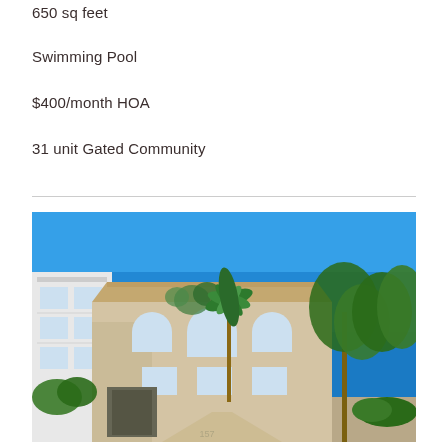650 sq feet
Swimming Pool
$400/month HOA
31 unit Gated Community
[Figure (photo): Exterior photo of a 2-story beige stucco apartment building with arched windows and a tiled roof, flanked by trees against a clear blue sky. A modern white multi-story building is visible on the left. Address number 157 visible on building.]